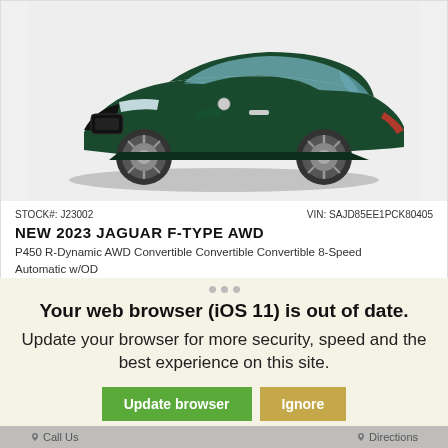[Figure (photo): Dark green Jaguar F-Type AWD sports coupe photographed from a front-right angle on a white/grey background]
STOCK#: J23002    VIN: SAJD85EE1PCK80405
NEW 2023 JAGUAR F-TYPE AWD
P450 R-Dynamic AWD Convertible Convertible Convertible 8-Speed Automatic w/OD
Portofino Blue
Your web browser (iOS 11) is out of date.
Update your browser for more security, speed and the best experience on this site.
Update browser    Ignore